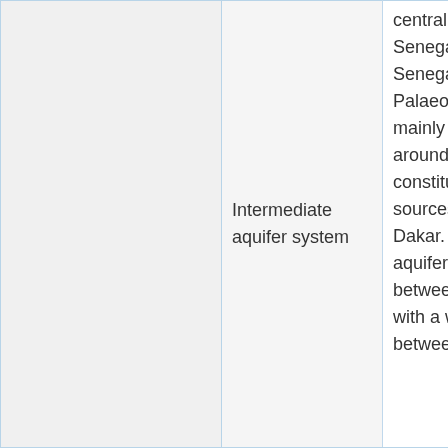|  | Intermediate aquifer system | central western part of Senegal and along the Senegal river. The Palaeocene aquifer occurs mainly in western Senegal, around Pout. These aquifers constitute one of the main sources of drinking water for Dakar. The Intermediate aquifer system ranges between 40 to 120 m thick, with a water table depth between a |